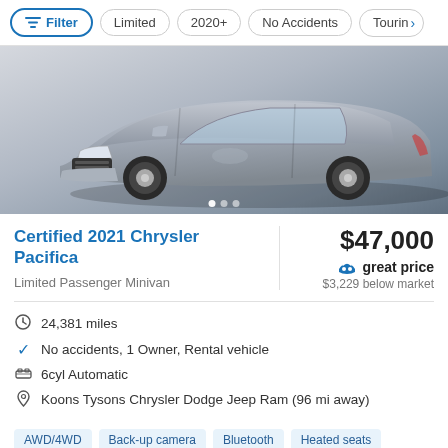Filter | Limited | 2020+ | No Accidents | Touring
[Figure (photo): Silver 2021 Chrysler Pacifica minivan on a grey gradient background]
Certified 2021 Chrysler Pacifica
Limited Passenger Minivan
$47,000
great price
$3,229 below market
24,381 miles
No accidents, 1 Owner, Rental vehicle
6cyl Automatic
Koons Tysons Chrysler Dodge Jeep Ram (96 mi away)
AWD/4WD | Back-up camera | Bluetooth | Heated seats